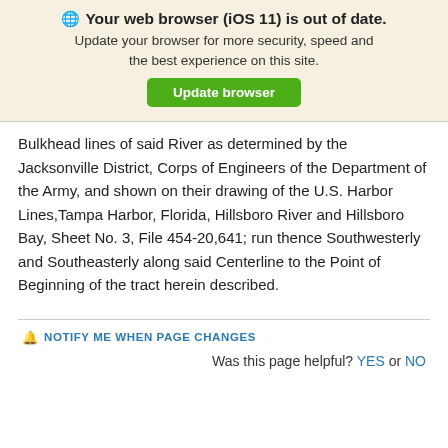🌐 Your web browser (iOS 11) is out of date. Update your browser for more security, speed and the best experience on this site. Update browser
Bulkhead lines of said River as determined by the Jacksonville District, Corps of Engineers of the Department of the Army, and shown on their drawing of the U.S. Harbor Lines,Tampa Harbor, Florida, Hillsboro River and Hillsboro Bay, Sheet No. 3, File 454-20,641; run thence Southwesterly and Southeasterly along said Centerline to the Point of Beginning of the tract herein described.
NOTIFY ME WHEN PAGE CHANGES
Was this page helpful? YES or NO